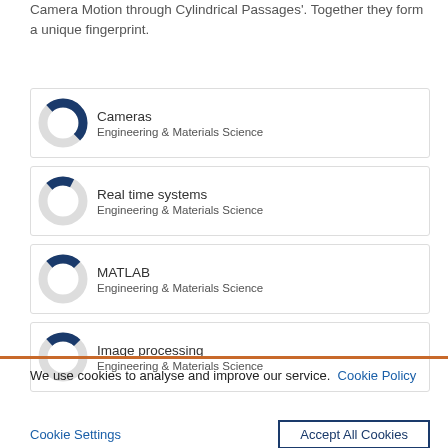Camera Motion through Cylindrical Passages'. Together they form a unique fingerprint.
[Figure (donut-chart): Donut chart showing approximately 50% fill in dark blue, labeled 'Cameras / Engineering & Materials Science']
[Figure (donut-chart): Donut chart showing approximately 20% fill in dark blue, labeled 'Real time systems / Engineering & Materials Science']
[Figure (donut-chart): Donut chart showing approximately 25% fill in dark blue, labeled 'MATLAB / Engineering & Materials Science']
[Figure (donut-chart): Donut chart showing approximately 25% fill in dark blue, labeled 'Image processing / Engineering & Materials Science']
We use cookies to analyse and improve our service.  Cookie Policy
Cookie Settings    Accept All Cookies